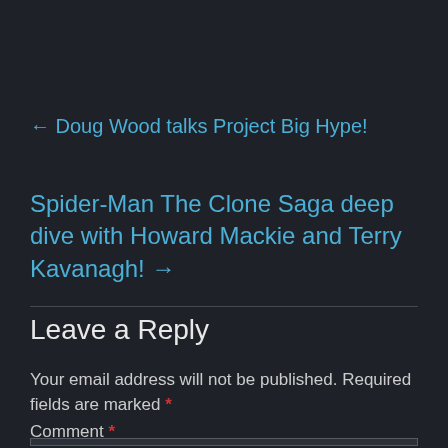← Doug Wood talks Project Big Hype!
Spider-Man The Clone Saga deep dive with Howard Mackie and Terry Kavanagh! →
Leave a Reply
Your email address will not be published. Required fields are marked *
Comment *